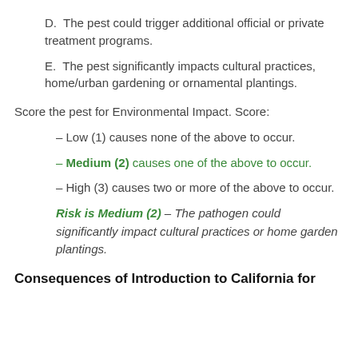D.  The pest could trigger additional official or private treatment programs.
E.  The pest significantly impacts cultural practices, home/urban gardening or ornamental plantings.
Score the pest for Environmental Impact. Score:
– Low (1) causes none of the above to occur.
– Medium (2) causes one of the above to occur.
– High (3) causes two or more of the above to occur.
Risk is Medium (2) – The pathogen could significantly impact cultural practices or home garden plantings.
Consequences of Introduction to California for